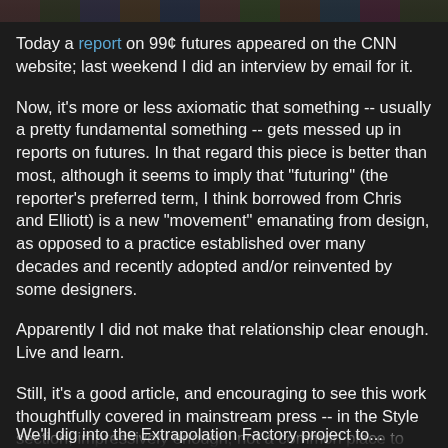[Figure (photo): Partial top strip of an image, showing colorful product/toy imagery on a dark background]
Today a report on 99¢ futures appeared on the CNN website; last weekend I did an interview by email for it.
Now, it's more or less axiomatic that something -- usually a pretty fundamental something -- gets messed up in reports on futures. In that regard this piece is better than most, although it seems to imply that "futuring" (the reporter's preferred term, I think borrowed from Chris and Elliott) is a new "movement" emanating from design, as opposed to a practice established over many decades and recently adopted and/or reinvented by some designers.
Apparently I did not make that relationship clear enough. Live and learn.
Still, it's a good article, and encouraging to see this work thoughtfully covered in mainstream press -- in the Style section, impressively enough; not a common place to find foresight news!
We'll dig into the Extrapolation Factory project to...